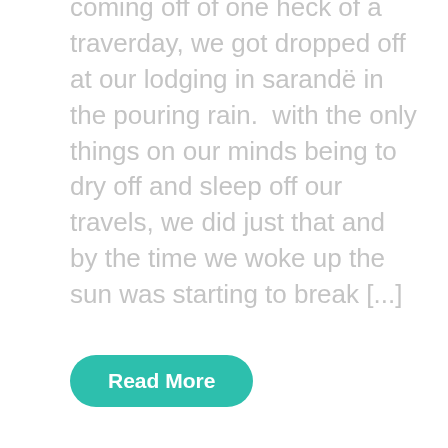coming off of one heck of a traverday, we got dropped off at our lodging in sarandë in the pouring rain.  with the only things on our minds being to dry off and sleep off our travels, we did just that and by the time we woke up the sun was starting to break [...]
Read More
June 22, 2016
jojo
Leave a Comment